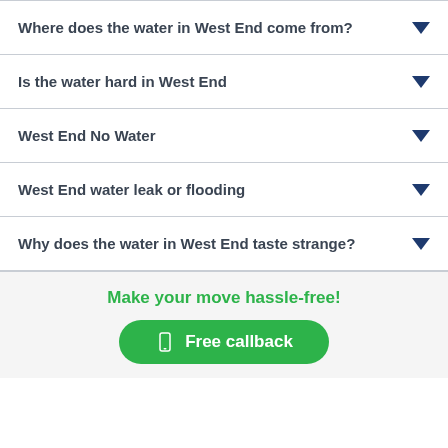Where does the water in West End come from?
Is the water hard in West End
West End No Water
West End water leak or flooding
Why does the water in West End taste strange?
Make your move hassle-free!
Free callback